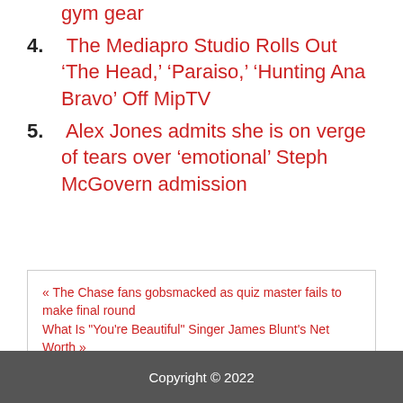gym gear
4. The Mediapro Studio Rolls Out ‘The Head,’ ‘Paraiso,’ ‘Hunting Ana Bravo’ Off MipTV
5. Alex Jones admits she is on verge of tears over ‘emotional’ Steph McGovern admission
« The Chase fans gobsmacked as quiz master fails to make final round
What Is "You're Beautiful" Singer James Blunt's Net Worth »
Copyright © 2022